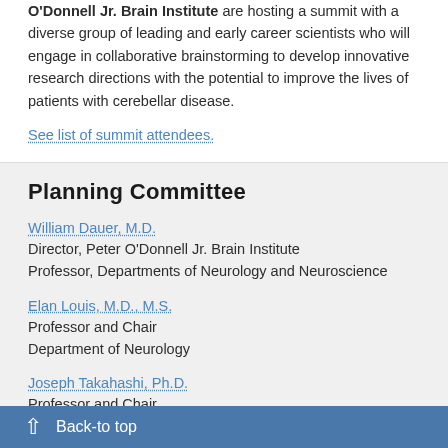O'Donnell Jr. Brain Institute are hosting a summit with a diverse group of leading and early career scientists who will engage in collaborative brainstorming to develop innovative research directions with the potential to improve the lives of patients with cerebellar disease.
See list of summit attendees.
Planning Committee
William Dauer, M.D.
Director, Peter O'Donnell Jr. Brain Institute
Professor, Departments of Neurology and Neuroscience
Elan Louis, M.D., M.S.
Professor and Chair
Department of Neurology
Joseph Takahashi, Ph.D.
Professor and Chair
Department of Neuroscience
Back-to top